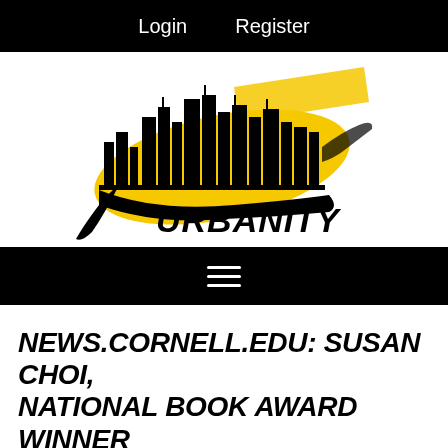Login   Register
[Figure (logo): Urbanity logo: city skyline silhouette over a yellow paint brush stroke with the word URBANITY in bold black italic text]
☰ (hamburger menu icon)
NEWS.CORNELL.EDU: SUSAN CHOI, NATIONAL BOOK AWARD WINNER